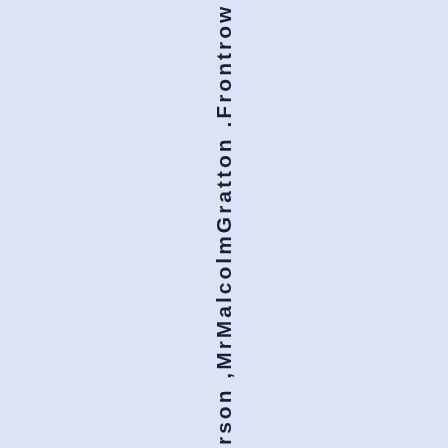rson ,MrMalcolmGratton .Frontrow